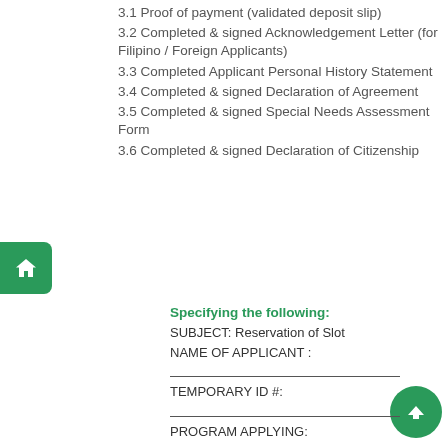3.1 Proof of payment (validated deposit slip)
3.2 Completed & signed Acknowledgement Letter (for Filipino / Foreign Applicants)
3.3 Completed Applicant Personal History Statement
3.4 Completed & signed Declaration of Agreement
3.5 Completed & signed Special Needs Assessment Form
3.6 Completed & signed Declaration of Citizenship
Specifying the following:
SUBJECT: Reservation of Slot
NAME OF APPLICANT :

TEMPORARY ID #:

PROGRAM APPLYING: